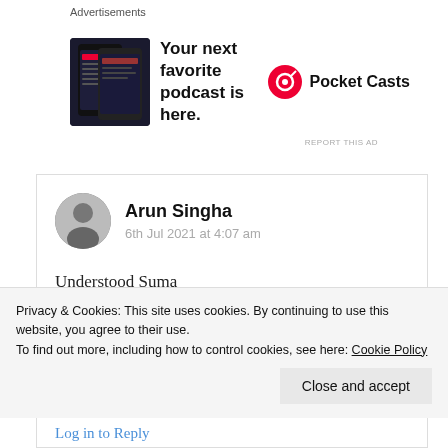Advertisements
[Figure (screenshot): Pocket Casts advertisement banner showing phone with app and text 'Your next favorite podcast is here.']
REPORT THIS AD
Arun Singha
6th Jul 2021 at 4:07 am
Understood Suma
Great meaning of the silence.
Each line have meaning.
Privacy & Cookies: This site uses cookies. By continuing to use this website, you agree to their use.
To find out more, including how to control cookies, see here: Cookie Policy
Close and accept
Log in to Reply